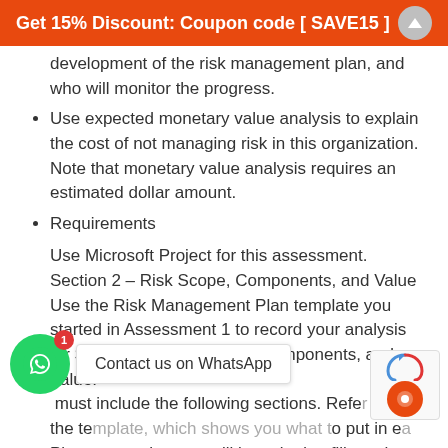Get 15% Discount: Coupon code [ SAVE15 ]
development of the risk management plan, and who will monitor the progress.
Use expected monetary value analysis to explain the cost of not managing risk in this organization. Note that monetary value analysis requires an estimated dollar amount.
Requirements
Use Microsoft Project for this assessment.
Section 2 – Risk Scope, Components, and Value
Use the Risk Management Plan template you started in Assessment 1 to record your analysis for Section 2 – Risk Scope, Components, and Value.
 must include the following sections. Refer the te  o put in e  
Please note that you will be asked to fill out th